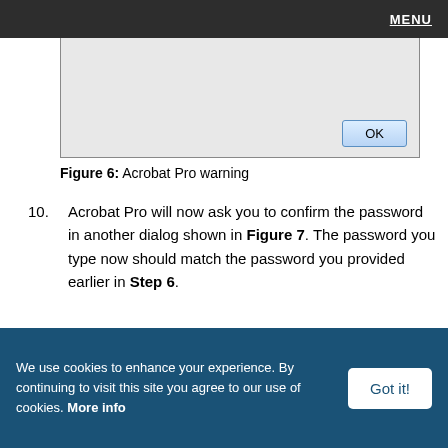MENU
[Figure (screenshot): Partial screenshot showing an OK button in a dialog box]
Figure 6: Acrobat Pro warning
10. Acrobat Pro will now ask you to confirm the password in another dialog shown in Figure 7. The password you type now should match the password you provided earlier in Step 6.
[Figure (screenshot): Adobe Acrobat - Confirm Permissions Password dialog with warning text and a Permissions Password input field]
We use cookies to enhance your experience. By continuing to visit this site you agree to our use of cookies. More info